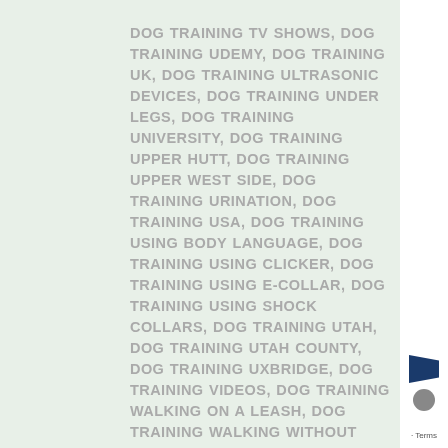DOG TRAINING TV SHOWS, DOG TRAINING UDEMY, DOG TRAINING UK, DOG TRAINING ULTRASONIC DEVICES, DOG TRAINING UNDER LEGS, DOG TRAINING UNIVERSITY, DOG TRAINING UPPER HUTT, DOG TRAINING UPPER WEST SIDE, DOG TRAINING URINATION, DOG TRAINING USA, DOG TRAINING USING BODY LANGUAGE, DOG TRAINING USING CLICKER, DOG TRAINING USING E-COLLAR, DOG TRAINING USING SHOCK COLLARS, DOG TRAINING UTAH, DOG TRAINING UTAH COUNTY, DOG TRAINING UXBRIDGE, DOG TRAINING VIDEOS, DOG TRAINING WALKING ON A LEASH, DOG TRAINING WALKING WITHOUT PULLING, DOG TRAINING WEBSITES, DOG TRAINING WELLINGTON, DOG TRAINING WHISTLE, DOG TRAINING WICHITA KS, DOG TRAINING WILMINGTON NC, DOG TRAINING WINDSOR, DOG TRAINING WINNIPEG, DOG TRAINING WITH BUTTONS, DOG TRAINING WITH CLICKER, DOG TRAINING WITH E COLLAR, DOG TRAINING WITH ELECTRONIC COLLAR, DOG TRAINING WITH HAND SIGNALS, DOG TRAINING WITH SHOCK COLLAR, DOG TRAINING WITHOUT TREATS, DOG+TRAINING+COLLAR, DOGS, DOGTRAINING, ECOLLAR, ECOLLAR RECALL, ECOLLAR TRAINING, ELECTRONIC, HOW TO TRAIN A DOG, LEASH